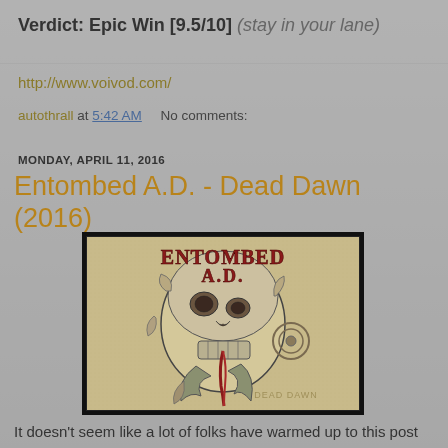Verdict: Epic Win [9.5/10] (stay in your lane)
http://www.voivod.com/
autothrall at 5:42 AM   No comments:
MONDAY, APRIL 11, 2016
Entombed A.D. - Dead Dawn (2016)
[Figure (illustration): Album cover for Entombed A.D. Dead Dawn (2016) showing a detailed skull/creature illustration on a beige textured background with the band name in red gothic letters at the top and Dead Dawn text at the bottom right]
It doesn't seem like a lot of folks have warmed up to this post